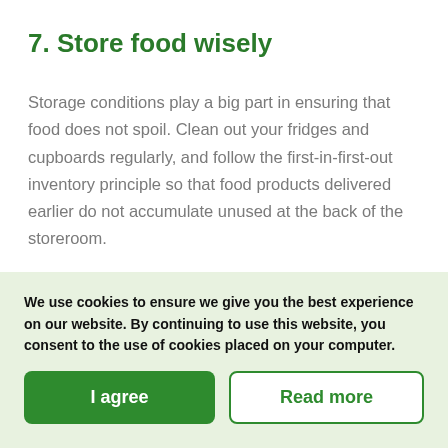7. Store food wisely
Storage conditions play a big part in ensuring that food does not spoil. Clean out your fridges and cupboards regularly, and follow the first-in-first-out inventory principle so that food products delivered earlier do not accumulate unused at the back of the storeroom.
We use cookies to ensure we give you the best experience on our website. By continuing to use this website, you consent to the use of cookies placed on your computer.